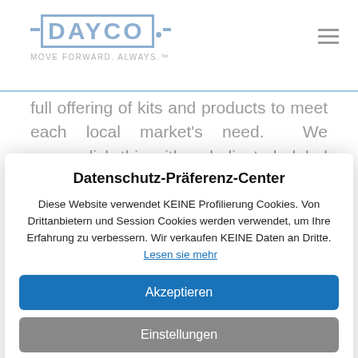[Figure (logo): Dayco logo with tagline MOVE FORWARD. ALWAYS.]
full offering of kits and products to meet each local market's need. We accomplish this with a dedicated global team that respects one another, shows humility through continuous learning and also through entrepreneuring. We ... countries and ... 1,500 associates ... the company's network
Datenschutz-Präferenz-Center
Diese Website verwendet KEINE Profilierung Cookies. Von Drittanbietern und Session Cookies werden verwendet, um Ihre Erfahrung zu verbessern. Wir verkaufen KEINE Daten an Dritte. Lesen sie mehr
Akzeptieren
Einstellungen
Ablehnen